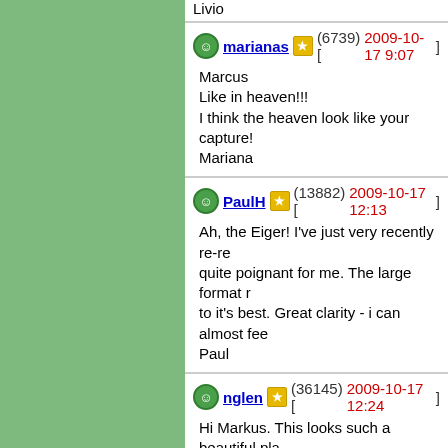Livio
marianas (6739) [2009-10-17 9:07]
Marcus
Like in heaven!!!
I think the heaven look like your capture!
Mariana
PaulH (13882) [2009-10-17 12:13]
Ah, the Eiger! I've just very recently re-re...
quite poignant for me. The large format r...
to it's best. Great clarity - i can almost fee...
Paul
nglen (36145) [2009-10-17 12:24]
Hi Markus. This looks such a beautiful pla...
shades of blue. With the shadows on the...
Winteris on its way for you. I am glad you...
Nick..
Juyona (16891) [2009-10-17 13:01]
WOOW Markus,
magn◆fica LP.hermoso panorama.
bonitos colores e iluminaci◆n...
escena de lujo.
saludos amigo.